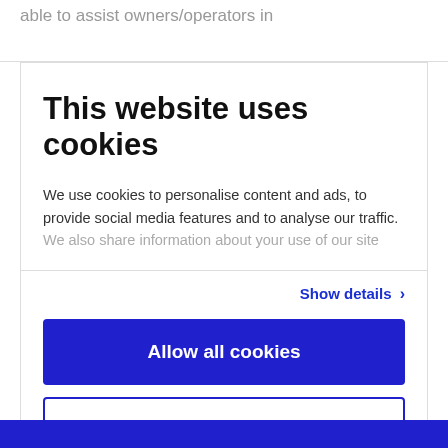able to assist owners/operators in
This website uses cookies
We use cookies to personalise content and ads, to provide social media features and to analyse our traffic. We also share information about your use of our site
Show details ›
Allow all cookies
Customize ›
Powered by Cookiebot by Usercentrics